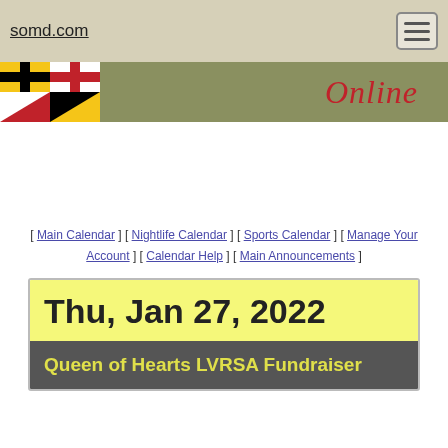somd.com
[Figure (illustration): Maryland state flag and 'Online' script text on an olive-green banner strip]
[ Main Calendar ] [ Nightlife Calendar ] [ Sports Calendar ] [ Manage Your Account ] [ Calendar Help ] [ Main Announcements ]
Thu, Jan 27, 2022
Queen of Hearts LVRSA Fundraiser